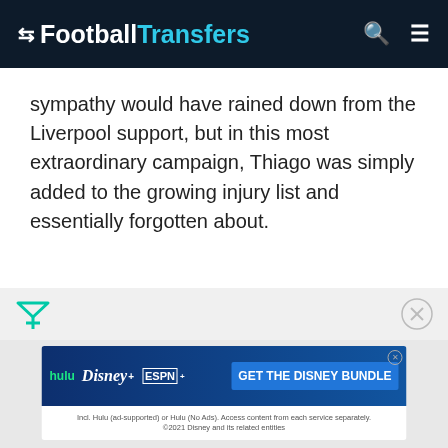FootballTransfers
sympathy would have rained down from the Liverpool support, but in this most extraordinary campaign, Thiago was simply added to the growing injury list and essentially forgotten about.
[Figure (screenshot): Disney Bundle advertisement banner showing Hulu, Disney+, ESPN+ logos and GET THE DISNEY BUNDLE call to action button]